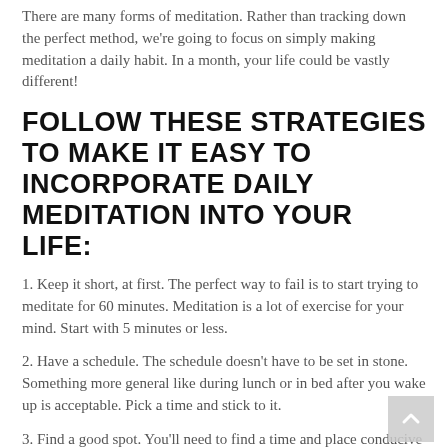There are many forms of meditation. Rather than tracking down the perfect method, we're going to focus on simply making meditation a daily habit. In a month, your life could be vastly different!
FOLLOW THESE STRATEGIES TO MAKE IT EASY TO INCORPORATE DAILY MEDITATION INTO YOUR LIFE:
1. Keep it short, at first. The perfect way to fail is to start trying to meditate for 60 minutes. Meditation is a lot of exercise for your mind. Start with 5 minutes or less.
2. Have a schedule. The schedule doesn't have to be set in stone. Something more general like during lunch or in bed after you wake up is acceptable. Pick a time and stick to it.
3. Find a good spot. You'll need to find a time and place conducive to focus. Quietness and solitude help but aren't required.